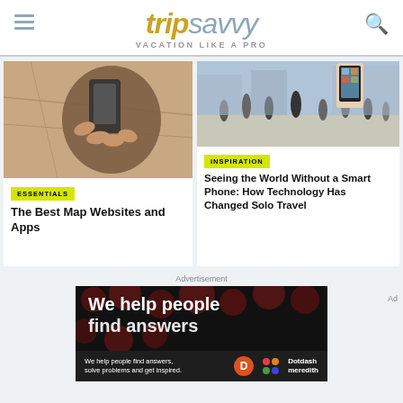tripsavvy — VACATION LIKE A PRO
[Figure (screenshot): TripSavvy website screenshot showing logo, navigation, article cards and advertisement]
ESSENTIALS
The Best Map Websites and Apps
INSPIRATION
Seeing the World Without a Smart Phone: How Technology Has Changed Solo Travel
Advertisement
[Figure (screenshot): Dotdash Meredith advertisement: We help people find answers, solve problems and get inspired.]